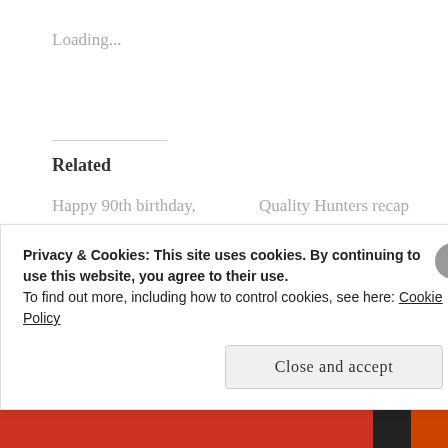Loading...
Related
Happy 90th birthday, Finnair!
October 25, 2013
In "Airports & Flights"
Quality Hunters recap
December 10, 2011
Travel Inspiration: Pablo Garcia cycles around the world...
Privacy & Cookies: This site uses cookies. By continuing to use this website, you agree to their use.
To find out more, including how to control cookies, see here: Cookie Policy
Close and accept